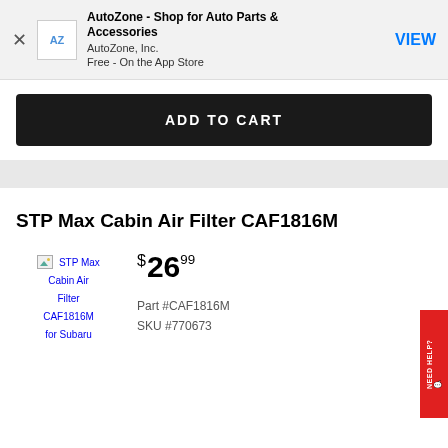[Figure (screenshot): AutoZone app banner with AZ logo icon, app title, publisher, price, and VIEW button]
ADD TO CART
STP Max Cabin Air Filter CAF1816M
[Figure (photo): STP Max Cabin Air Filter CAF1816M for Subaru product image (broken/placeholder)]
$26.99
Part #CAF1816M
SKU #770673